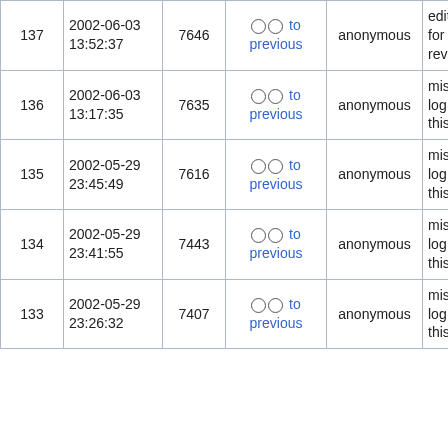| 137 | 2002-06-03 13:52:37 | 7646 | ○ ○ to previous | anonymous | edit-log entry for this revision |
| 136 | 2002-06-03 13:17:35 | 7635 | ○ ○ to previous | anonymous | missing edit-log entry for this revision |
| 135 | 2002-05-29 23:45:49 | 7616 | ○ ○ to previous | anonymous | missing edit-log entry for this revision |
| 134 | 2002-05-29 23:41:55 | 7443 | ○ ○ to previous | anonymous | missing edit-log entry for this revision |
| 133 | 2002-05-29 23:26:32 | 7407 | ○ ○ to previous | anonymous | missing edit-log entry for this revision |